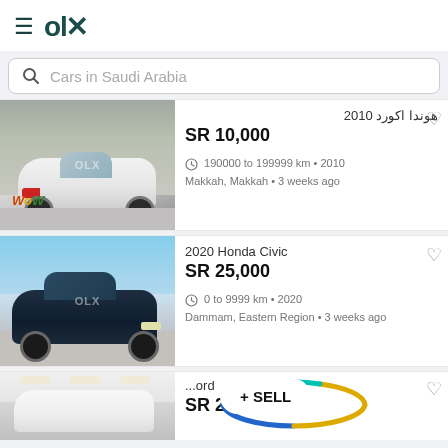OLx
Cars in Saudi Arabia
هوندا اكورد 2010 | SR 10,000 | 190000 to 199999 km • 2010 | Makkah, Makkah • 3 weeks ago
2020 Honda Civic | SR 25,000 | 0 to 9999 km • 2020 | Dammam, Eastern Region • 3 weeks ago
...ord | SR 25,000
+ SELL